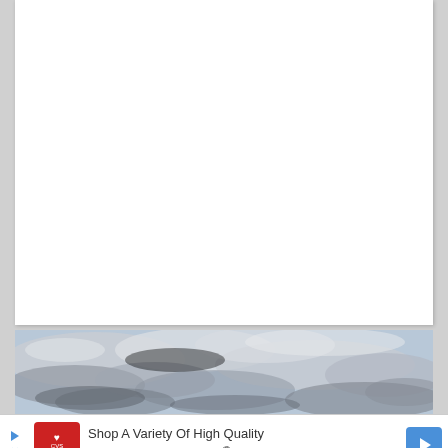[Figure (photo): A photograph of a sky with clouds, showing light blue sky with grey and white cloud formations.]
[Figure (other): Advertisement banner for CVS pharmacy: 'Shop A Variety Of High Quality Photo Products At CVS® Today' with CVS pharmacy logo on the left and a blue navigation/direction arrow icon on the right.]